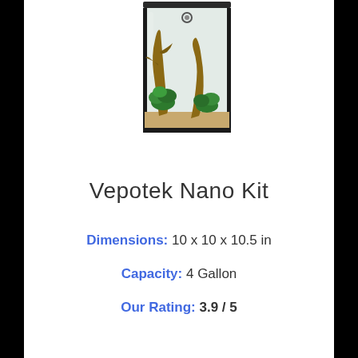[Figure (photo): Photo of a Vepotek Nano Kit aquarium tank with driftwood, green plants, and sandy substrate visible through the glass front.]
Vepotek Nano Kit
Dimensions:  10 x 10 x 10.5 in
Capacity: 4 Gallon
Our Rating: 3.9 / 5